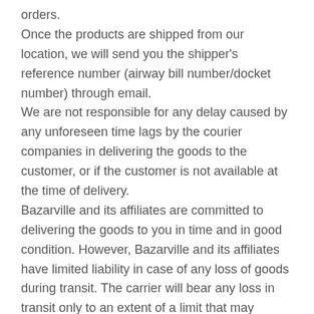orders.
Once the products are shipped from our location, we will send you the shipper's reference number (airway bill number/docket number) through email.
We are not responsible for any delay caused by any unforeseen time lags by the courier companies in delivering the goods to the customer, or if the customer is not available at the time of delivery.
Bazarville and its affiliates are committed to delivering the goods to you in time and in good condition. However, Bazarville and its affiliates have limited liability in case of any loss of goods during transit. The carrier will bear any loss in transit only to an extent of a limit that may change from time to time.
We reserve the right to release information to local, state, central or international law enforcement officials when we